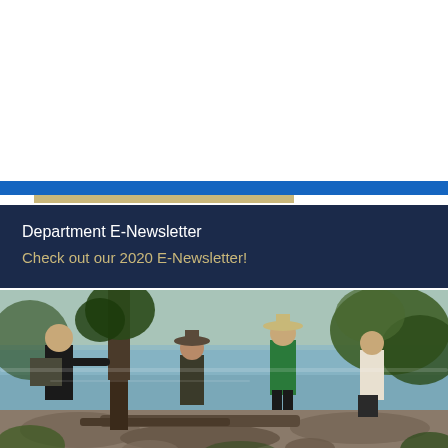Undergraduate Research
Scholarships and Grants
Graduate School
Graduation
Academic and Mental Health Resources
Department E-Newsletter
Check out our 2020 E-Newsletter!
[Figure (photo): Students doing fieldwork near a creek or stream, with trees and rocky terrain. One person in a black shirt touches a tree trunk, others wade or stand near the water wearing boots. Outdoor ecology or environmental science field study.]